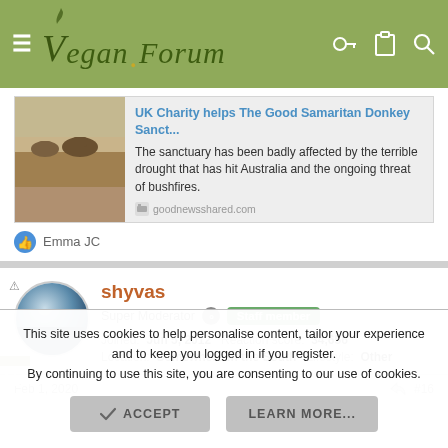Vegan Forum
[Figure (screenshot): Link card showing UK Charity helps The Good Samaritan Donkey Sanct... article with donkey ranch photo thumbnail from goodnewsshared.com]
Emma JC
shyvas - Super Moderator - Staff member - Joined: Jun 5, 2012  Reaction score: 34,656  Location: Somewhere in the South  Lifestyle: Other
Feb 1, 2020  #16
This site uses cookies to help personalise content, tailor your experience and to keep you logged in if you register.
By continuing to use this site, you are consenting to our use of cookies.